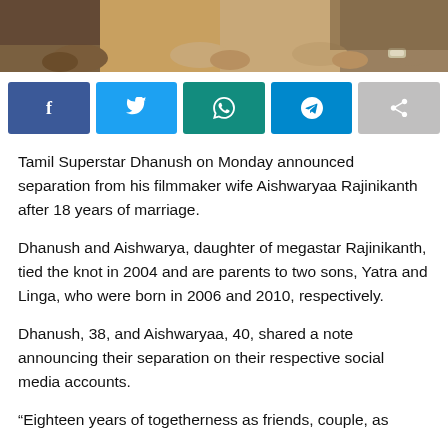[Figure (photo): Cropped photo showing people's hands and torsos, appears to be at a gathering or ceremony]
[Figure (infographic): Social media sharing buttons: Facebook (blue), Twitter (light blue), WhatsApp (teal/dark green), Telegram (blue), Share (grey)]
Tamil Superstar Dhanush on Monday announced separation from his filmmaker wife Aishwaryaa Rajinikanth after 18 years of marriage.
Dhanush and Aishwarya, daughter of megastar Rajinikanth, tied the knot in 2004 and are parents to two sons, Yatra and Linga, who were born in 2006 and 2010, respectively.
Dhanush, 38, and Aishwaryaa, 40, shared a note announcing their separation on their respective social media accounts.
“Eighteen years of togetherness as friends, couple, as parents and all the roles we have played...